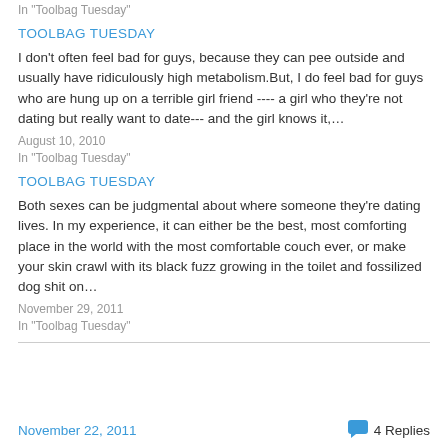In "Toolbag Tuesday"
TOOLBAG TUESDAY
I don't often feel bad for guys, because they can pee outside and usually have ridiculously high metabolism.But, I do feel bad for guys who are hung up on a terrible girl friend ---- a girl who they're not dating but really want to date--- and the girl knows it,…
August 10, 2010
In "Toolbag Tuesday"
TOOLBAG TUESDAY
Both sexes can be judgmental about where someone they're dating lives. In my experience, it can either be the best, most comforting place in the world with the most comfortable couch ever, or make your skin crawl with its black fuzz growing in the toilet and fossilized dog shit on…
November 29, 2011
In "Toolbag Tuesday"
November 22, 2011  4 Replies